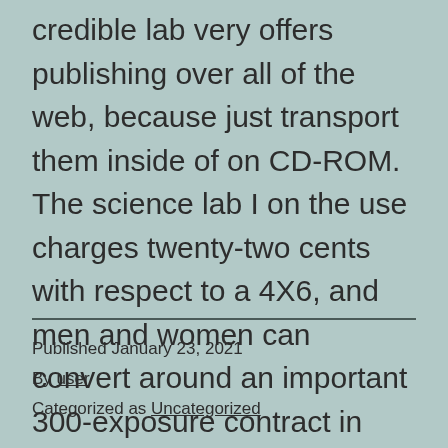credible lab very offers publishing over all of the web, because just transport them inside of on CD-ROM. The science lab I on the use charges twenty-two cents with respect to a 4X6, and men and women can convert around an important 300-exposure contract in this couple with business weeks time.
Published January 23, 2021
By user
Categorized as Uncategorized